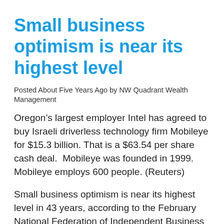Small business optimism is near its highest level
Posted About Five Years Ago by NW Quadrant Wealth Management
Oregon’s largest employer Intel has agreed to buy Israeli driverless technology firm Mobileye for $15.3 billion. That is a $63.54 per share cash deal.  Mobileye was founded in 1999. Mobileye employs 600 people. (Reuters)
Small business optimism is near its highest level in 43 years, according to the February National Federation of Independent Business Small Business Optimism Index. The Index fell 0.6 points in February to 105.3. Three of the ten components increased, six declined modestly, and one was unchanged. Half of business